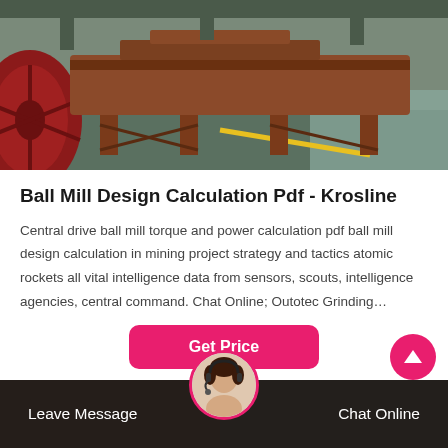[Figure (photo): Industrial ball mill machinery on a factory floor, with large red wheel/drum on the left and metal equipment frames on a green and grey floor with yellow lines.]
Ball Mill Design Calculation Pdf - Krosline
Central drive ball mill torque and power calculation pdf ball mill design calculation in mining project strategy and tactics atomic rockets all vital intelligence data from sensors, scouts, intelligence agencies, central command. Chat Online; Outotec Grinding…
Get Price
Leave Message
Chat Online